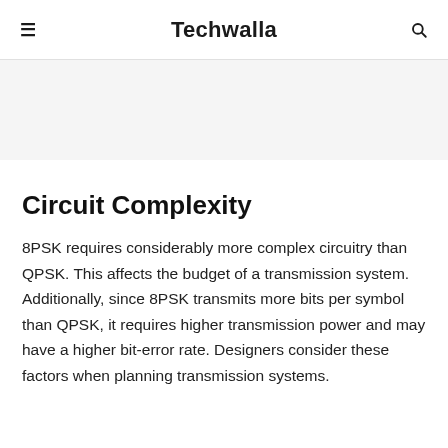Techwalla
Circuit Complexity
8PSK requires considerably more complex circuitry than QPSK. This affects the budget of a transmission system. Additionally, since 8PSK transmits more bits per symbol than QPSK, it requires higher transmission power and may have a higher bit-error rate. Designers consider these factors when planning transmission systems.